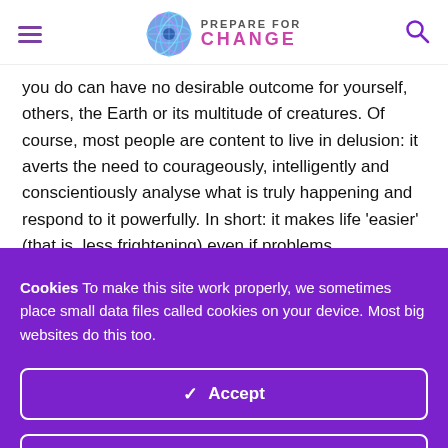Prepare For Change
you do can have no desirable outcome for yourself, others, the Earth or its multitude of creatures. Of course, most people are content to live in delusion: it averts the need to courageously, intelligently and conscientiously analyse what is truly happening and respond to it powerfully. In short: it makes life 'easier' (that is, less frightening) even if problems
Cookies To make this site work properly, we sometimes place small data files called cookies on your device. Most big websites do this too.
✓ Accept
Change Settings ⚙